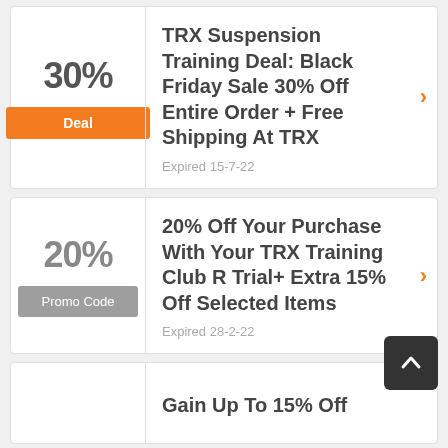30%
Deal
TRX Suspension Training Deal: Black Friday Sale 30% Off Entire Order + Free Shipping At TRX
Expired 15-7-22
20%
Promo Code
20% Off Your Purchase With Your TRX Training Club R Trial+ Extra 15% Off Selected Items
Expired 28-2-22
Gain Up To 15% Off